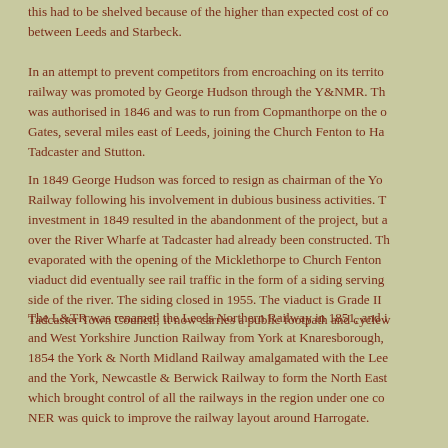this had to be shelved because of the higher than expected cost of c... between Leeds and Starbeck.
In an attempt to prevent competitors from encroaching on its territo... railway was promoted by George Hudson through the Y&NMR. Th... was authorised in 1846 and was to run from Copmanthorpe on the o... Gates, several miles east of Leeds, joining the Church Fenton to Ha... Tadcaster and Stutton.
In 1849 George Hudson was forced to resign as chairman of the Yo... Railway following his involvement in dubious business activities. T... investment in 1849 resulted in the abandonment of the project, but a... over the River Wharfe at Tadcaster had already been constructed. Th... evaporated with the opening of the Micklethorpe to Church Fenton ... viaduct did eventually see rail traffic in the form of a siding serving... side of the river. The siding closed in 1955. The viaduct is Grade II... Tadcaster Town Council; it now carries a public footpath and cyclew...
The L&TR was renamed the Leeds Northern Railway in 1851, and i... and West Yorkshire Junction Railway from York at Knaresborough,... 1854 the York & North Midland Railway amalgamated with the Lee... and the York, Newcastle & Berwick Railway to form the North East... which brought control of all the railways in the region under one co... NER was quick to improve the railway layout around Harrogate.